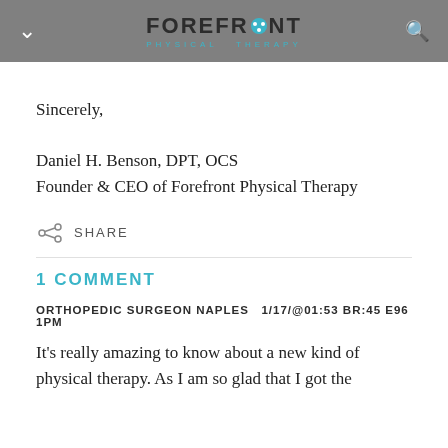FOREFRONT PHYSICAL THERAPY
Sincerely,
Daniel H. Benson, DPT, OCS
Founder & CEO of Forefront Physical Therapy
SHARE
1 COMMENT
ORTHOPEDIC SURGEON NAPLES  1/17/@01:53 BR:45 E96 1PM
It's really amazing to know about a new kind of physical therapy. As I am so glad that I got the opportunity to know something new about the A